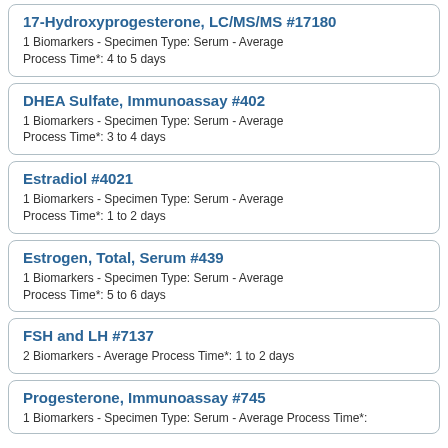17-Hydroxyprogesterone, LC/MS/MS #17180
1 Biomarkers - Specimen Type: Serum - Average Process Time*: 4 to 5 days
DHEA Sulfate, Immunoassay #402
1 Biomarkers - Specimen Type: Serum - Average Process Time*: 3 to 4 days
Estradiol #4021
1 Biomarkers - Specimen Type: Serum - Average Process Time*: 1 to 2 days
Estrogen, Total, Serum #439
1 Biomarkers - Specimen Type: Serum - Average Process Time*: 5 to 6 days
FSH and LH #7137
2 Biomarkers - Average Process Time*: 1 to 2 days
Progesterone, Immunoassay #745
1 Biomarkers - Specimen Type: Serum - Average Process Time*: (truncated)